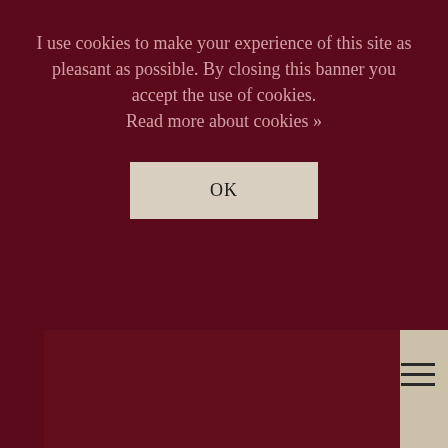I use cookies to make your experience of this site as pleasant as possible. By closing this banner you accept the use of cookies. Read more about cookies »
OK
[Figure (other): Website layout screenshot showing a dark maroon cookie consent banner overlay on top of a page with a dark maroon square block on the left and a tan/beige panel on the right with a hamburger menu icon]